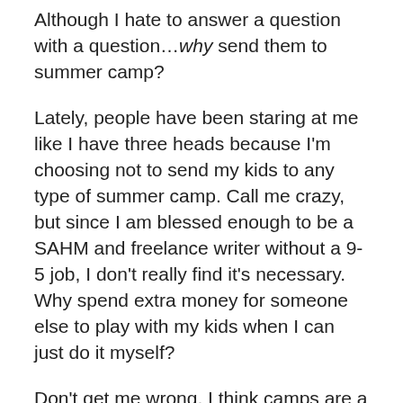Although I hate to answer a question with a question…why send them to summer camp?
Lately, people have been staring at me like I have three heads because I'm choosing not to send my kids to any type of summer camp. Call me crazy, but since I am blessed enough to be a SAHM and freelance writer without a 9-5 job, I don't really find it's necessary. Why spend extra money for someone else to play with my kids when I can just do it myself?
Don't get me wrong, I think camps are a great resource and a necessity when you have both parents who are working all day long. Camps give the kids a chance to play outside, go places, and meet new friends. I know some SAHMs who are sending their kids to some half-day camps and such just to get them out of the house and break up the summer a bit. Since that's all fine and dandy for them to send their kids...